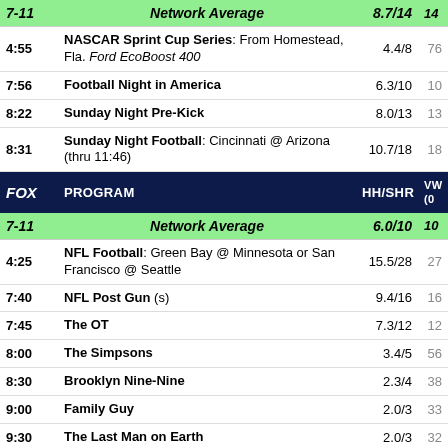| Time | Program | HH/SHR | VW (0) |
| --- | --- | --- | --- |
| 7-11 | Network Average | 8.7/14 | 14 |
| 4:55 | NASCAR Sprint Cup Series: From Homestead, Fla. Ford EcoBoost 400 | 4.4/8 | 76 |
| 7:56 | Football Night in America | 6.3/10 | 10 |
| 8:22 | Sunday Night Pre-Kick | 8.0/13 | 13 |
| 8:31 | Sunday Night Football: Cincinnati @ Arizona (thru 11:46) | 10.7/18 | 18 |
| FOX | PROGRAM | HH/SHR | VW (0) |
| 7-11 | Network Average | 6.0/10 | 10 |
| 4:25 | NFL Football: Green Bay @ Minnesota or San Francisco @ Seattle | 15.5/28 | 27 |
| 7:40 | NFL Post Gun (s) | 9.4/16 | 16 |
| 7:45 | The OT | 7.3/12 | 12 |
| 8:00 | The Simpsons | 3.4/5 | 56 |
| 8:30 | Brooklyn Nine-Nine | 2.3/4 | 38 |
| 9:00 | Family Guy | 2.0/3 | 33 |
| 9:30 | The Last Man on Earth | 2.0/3 | 32 |
| UNI | PROGRAM | HH/SHR | VW (0) |
| 7-11 | Network Average | 1.2/2 | 21 |
| 7:00 | Aqui y Ahora | 1.2/2 | 19 |